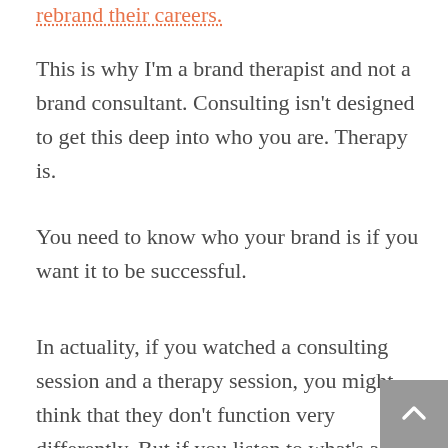rebrand their careers.
This is why I'm a brand therapist and not a brand consultant. Consulting isn't designed to get this deep into who you are. Therapy is.
You need to know who your brand is if you want it to be successful.
In actuality, if you watched a consulting session and a therapy session, you might think that they don't function very differently. But if you listen to what's asked—and what answers come out of those sessions—you'll